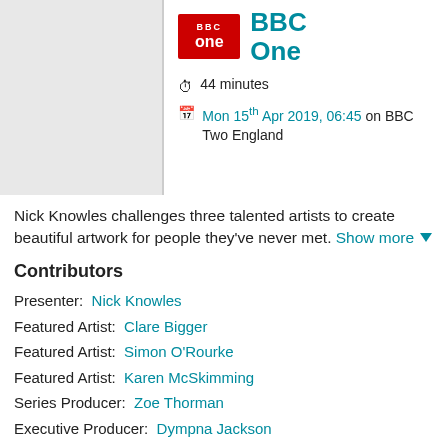[Figure (logo): BBC One logo — red rectangle with white 'BBC one' text, next to 'BBC One' label in teal]
44 minutes
Mon 15th Apr 2019, 06:45 on BBC Two England
Nick Knowles challenges three talented artists to create beautiful artwork for people they've never met. Show more ▼
Contributors
Presenter: Nick Knowles
Featured Artist: Clare Bigger
Featured Artist: Simon O'Rourke
Featured Artist: Karen McSkimming
Series Producer: Zoe Thorman
Executive Producer: Dympna Jackson
Executive Producer: Pam Cavannagh